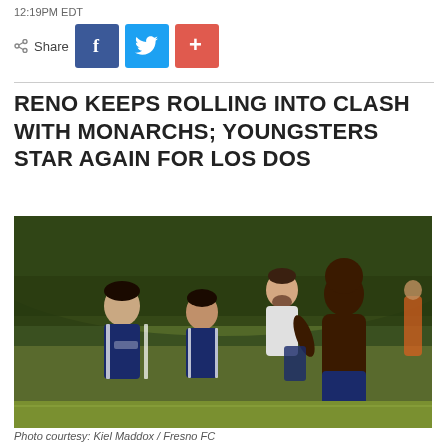12:19PM EDT
Share
RENO KEEPS ROLLING INTO CLASH WITH MONARCHS; YOUNGSTERS STAR AGAIN FOR LOS DOS
[Figure (photo): Soccer players celebrating on a field at night; a shirtless player runs in the foreground while teammates in dark blue uniforms smile in the background.]
Photo courtesy: Kiel Maddox / Fresno FC